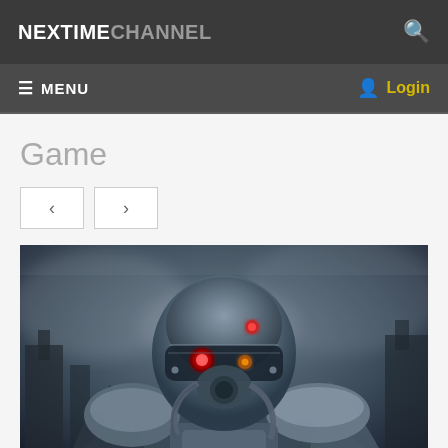NEXTIME CHANNEL
☰ MENU   Login
Game
[Figure (illustration): A heavily armored post-apocalyptic warrior in metallic power armor with glowing red eye and gas mask, set against a dark stormy background with ruins — Fallout-style game artwork.]